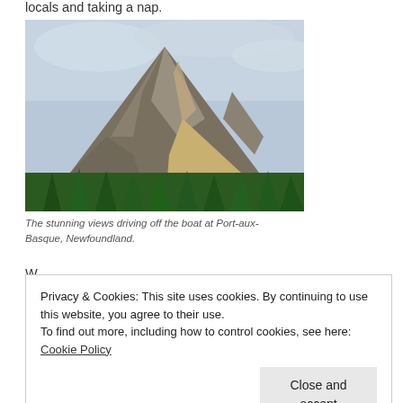locals and taking a nap.
[Figure (photo): A dramatic mountain peak with rocky faces and a forested base, photographed under a cloudy sky at Port-aux-Basque, Newfoundland.]
The stunning views driving off the boat at Port-aux-Basque, Newfoundland.
Privacy & Cookies: This site uses cookies. By continuing to use this website, you agree to their use. To find out more, including how to control cookies, see here: Cookie Policy
style with a guy yelling at us to get out of his drive way or he